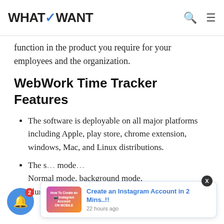WhatVWant
function in the product you require for your employees and the organization.
WebWork Time Tracker Features
The software is deployable on all major platforms including Apple, play store, chrome extension, windows, Mac, and Linux distributions.
The s... mode... Normal mode, background mode, blurred mode, and no screenshot
[Figure (other): Toast notification popup showing 'Create an Instagram Account in 2 Mins..!!' with thumbnail, 22 hours ago timestamp, and a close button (X). Also a blue notification bell icon with badge showing 2.]